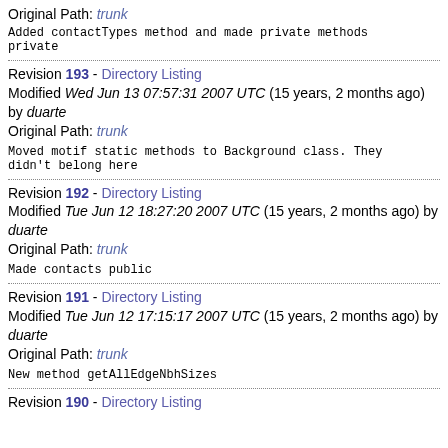Original Path: trunk
Added contactTypes method and made private methods private
Revision 193 - Directory Listing
Modified Wed Jun 13 07:57:31 2007 UTC (15 years, 2 months ago) by duarte
Original Path: trunk
Moved motif static methods to Background class. They didn't belong here
Revision 192 - Directory Listing
Modified Tue Jun 12 18:27:20 2007 UTC (15 years, 2 months ago) by duarte
Original Path: trunk
Made contacts public
Revision 191 - Directory Listing
Modified Tue Jun 12 17:15:17 2007 UTC (15 years, 2 months ago) by duarte
Original Path: trunk
New method getAllEdgeNbhSizes
Revision 190 - Directory Listing